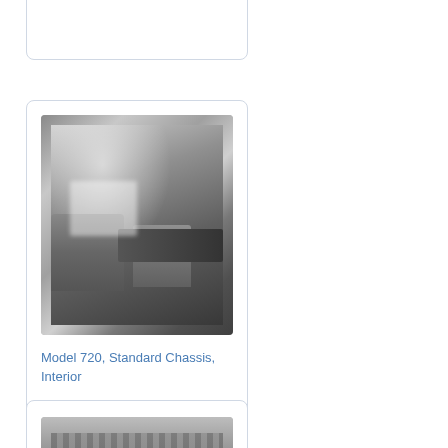[Figure (photo): Partial view of a card/panel with an image at top of page (cropped)]
[Figure (photo): Black and white photograph of the interior of a Model 720 Standard Chassis truck, showing the cab interior with seats, dashboard, and controls]
Model 720, Standard Chassis, Interior
[Figure (photo): Black and white photograph of the underside/chassis of a vehicle, showing wheels and frame components (partially visible, cropped at bottom of page)]